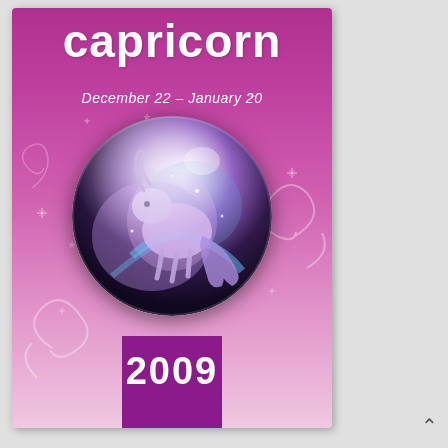capricorn
December 22 – January 20
[Figure (illustration): A glowing crystal ball containing a fantasy illustration of the Capricorn zodiac symbol (sea-goat creature) rendered in blue, purple and pink cosmic tones with sparkle effects]
2009